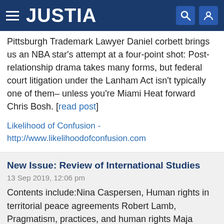JUSTIA
Pittsburgh Trademark Lawyer Daniel corbett brings us an NBA star's attempt at a four-point shot: Post-relationship drama takes many forms, but federal court litigation under the Lanham Act isn't typically one of them– unless you're Miami Heat forward Chris Bosh. [read post]
Likelihood of Confusion - http://www.likelihoodofconfusion.com
New Issue: Review of International Studies
13 Sep 2019, 12:06 pm
Contents include:Nina Caspersen, Human rights in territorial peace agreements Robert Lamb, Pragmatism, practices, and human rights Maja Zehfuss, Military refusers and the invocation of conscience: Relational subjectivities and the legitimation of liberal war Henry